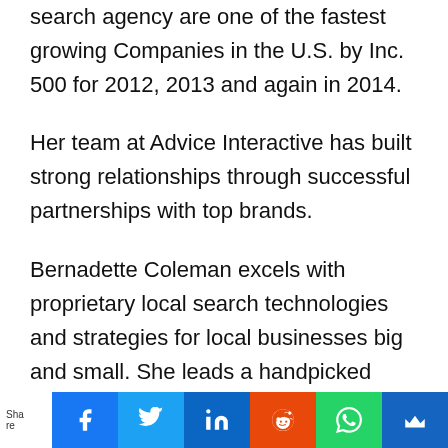search agency are one of the fastest growing Companies in the U.S. by Inc. 500 for 2012, 2013 and again in 2014.
Her team at Advice Interactive has built strong relationships through successful partnerships with top brands.
Bernadette Coleman excels with proprietary local search technologies and strategies for local businesses big and small. She leads a handpicked group of experienced digital professionals and programmers in the local space
Share | Facebook | Twitter | LinkedIn | Reddit | WhatsApp | Mail